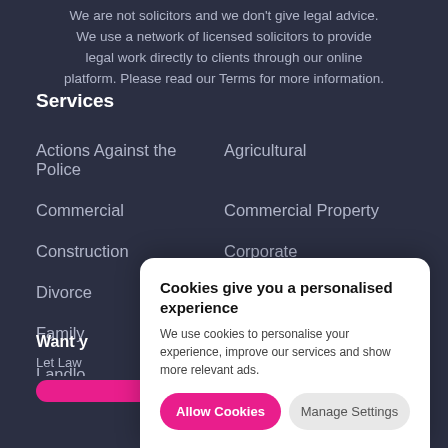We are not solicitors and we don't give legal advice. We use a network of licensed solicitors to provide legal work directly to clients through our online platform. Please read our Terms for more information.
Services
Actions Against the Police
Agricultural
Commercial
Commercial Property
Construction
Corporate
Divorce
Employment
Family
Immigration
Landlo...
Want y...
Let Law...
Cookies give you a personalised experience
We use cookies to personalise your experience, improve our services and show more relevant ads.
Allow Cookies
Manage Settings